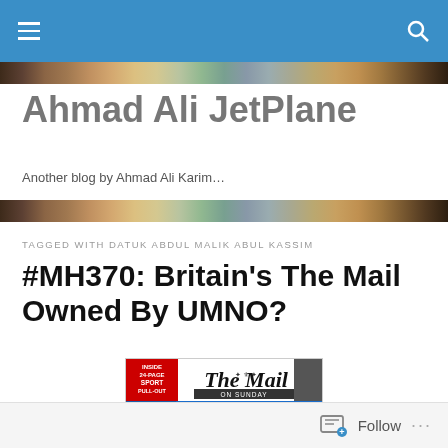Ahmad Ali JetPlane — navigation bar
Ahmad Ali JetPlane
Another blog by Ahmad Ali Karim…
TAGGED WITH DATUK ABDUL MALIK ABUL KASSIM
#MH370: Britain's The Mail Owned By UMNO?
[Figure (photo): The Mail On Sunday newspaper front page showing 'FREE DVD' and 'GALAPAGOS' promotion]
Follow